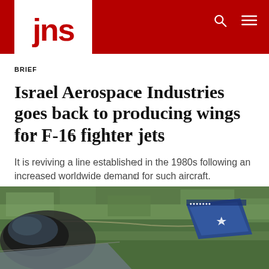jns
BRIEF
Israel Aerospace Industries goes back to producing wings for F-16 fighter jets
It is reviving a line established in the 1980s following an increased worldwide demand for such aircraft.
[Figure (photo): Aerial view from cockpit of F-16 fighter jet flying over green countryside with a blue-paneled tail fin visible bearing a star insignia.]